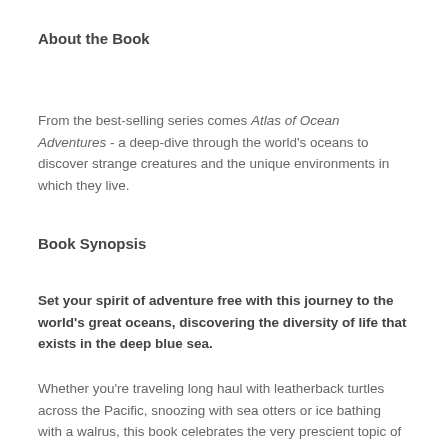About the Book
From the best-selling series comes Atlas of Ocean Adventures - a deep-dive through the world's oceans to discover strange creatures and the unique environments in which they live.
Book Synopsis
Set your spirit of adventure free with this journey to the world's great oceans, discovering the diversity of life that exists in the deep blue sea.
Whether you're traveling long haul with leatherback turtles across the Pacific, snoozing with sea otters or ice bathing with a walrus, this book celebrates the very prescient topic of the